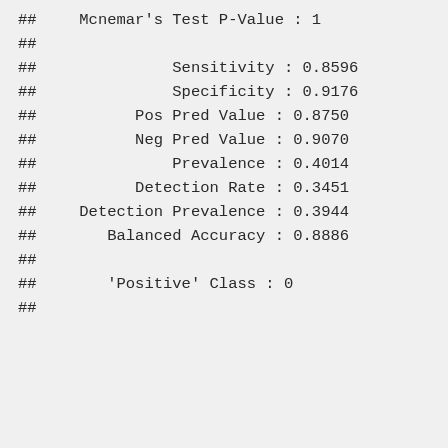## Mcnemar's Test P-Value : 1
##
##          Sensitivity : 0.8596
##          Specificity : 0.9176
##      Pos Pred Value : 0.8750
##      Neg Pred Value : 0.9070
##          Prevalence : 0.4014
##      Detection Rate : 0.3451
## Detection Prevalence : 0.3944
##    Balanced Accuracy : 0.8886
##
##      'Positive' Class : 0
##